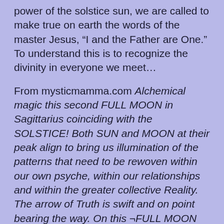power of the solstice sun, we are called to make true on earth the words of the master Jesus, “I and the Father are One.” To understand this is to recognize the divinity in everyone we meet…
From mysticmamma.com Alchemical magic this second FULL MOON in Sagittarius coinciding with the SOLSTICE! Both SUN and MOON at their peak align to bring us illumination of the patterns that need to be rewoven within our own psyche, within our relationships and within the greater collective Reality. The arrow of Truth is swift and on point bearing the way. On this ¬FULL MOON SOLSTICE¬ day, take time to be still and connect your heart to the beating, pulsing